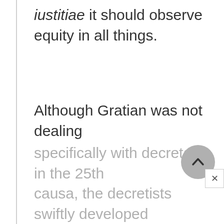iustitiae it should observe equity in all things.
Although Gratian was not dealing specifically with decretals in the 25th causa, the decretists swiftly developed